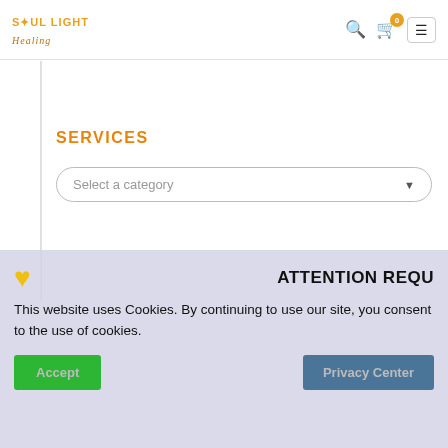SOUL LIGHT Healing — navigation header with search, cart (0), and menu icons
SERVICES
[Figure (screenshot): Dropdown select box with placeholder text 'Select a category' and a down-arrow chevron, styled with rounded border]
[Figure (screenshot): Cookie consent banner with yellow heart icon, 'ATTENTION REQU...' heading, cookie notice text, Accept (green) and Privacy Center (blue) buttons]
This website uses Cookies. By continuing to use our site, you consent to the use of cookies.